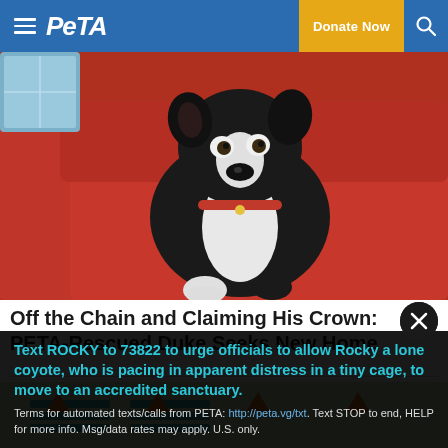PETA — Donate Now
[Figure (photo): Black and white dog sitting on a red couch/beanbag, looking downward]
Off the Chain and Claiming His Crown: PETA-Rescued Duke Seeks New Home
[Figure (photo): Partial view of a second photo with teal/orange objects on a light background]
Text ROCKY to 73822 to urge officials to allow Rocky a lone coyote, who is pacing in apparent distress in a tiny cage, to move to an accredited sanctuary.
Terms for automated texts/calls from PETA: http://peta.vg/txt. Text STOP to end, HELP for more info. Msg/data rates may apply. U.S. only.